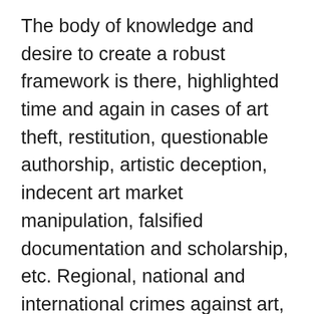The body of knowledge and desire to create a robust framework is there, highlighted time and again in cases of art theft, restitution, questionable authorship, artistic deception, indecent art market manipulation, falsified documentation and scholarship, etc. Regional, national and international crimes against art, antiquities and heritage require concrete evidence as proof, and although various levels of understanding coexist between all disciplines involved it's only by being open to collaborating together that we can actively bridge the gap between problem and solution. Versatile integration generated by cohesive groupings of people welded by a universal dialogue will help to